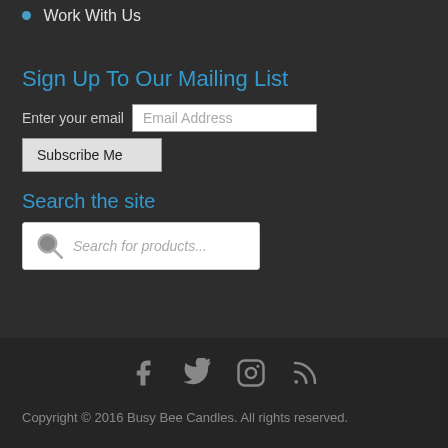Work With Us
Sign Up To Our Mailing List
Enter your email   Email Address
Subscribe Me
Search the site
Search for products...
[Figure (infographic): Social media icons: Facebook, Twitter, Instagram, RSS]
Copyright © 2016 Busy Bee Candles. All rights reserved.